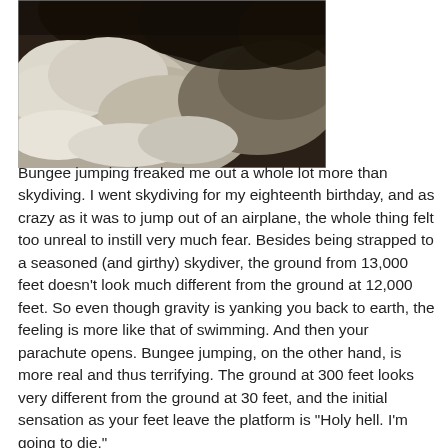[Figure (photo): Aerial photograph of thick, billowing storm clouds viewed from above, in sepia/dark tones]
Bungee jumping freaked me out a whole lot more than skydiving. I went skydiving for my eighteenth birthday, and as crazy as it was to jump out of an airplane, the whole thing felt too unreal to instill very much fear. Besides being strapped to a seasoned (and girthy) skydiver, the ground from 13,000 feet doesn't look much different from the ground at 12,000 feet. So even though gravity is yanking you back to earth, the feeling is more like that of swimming. And then your parachute opens. Bungee jumping, on the other hand, is more real and thus terrifying. The ground at 300 feet looks very different from the ground at 30 feet, and the initial sensation as your feet leave the platform is "Holy hell. I'm going to die."

I bring this up because the sensation of flying in Boeing-747 feels a lot more unreal than does flying in a plane like the tin shoebox I flew between islands this weekend. I don't mean